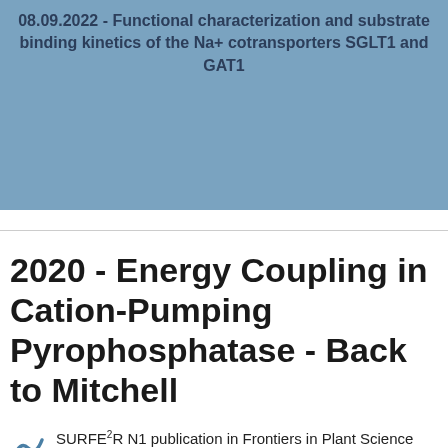08.09.2022 - Functional characterization and substrate binding kinetics of the Na+ cotransporters SGLT1 and GAT1
2020 - Energy Coupling in Cation-Pumping Pyrophosphatase - Back to Mitchell
SURFE²R N1 publication in Frontiers in Plant Science (2020)